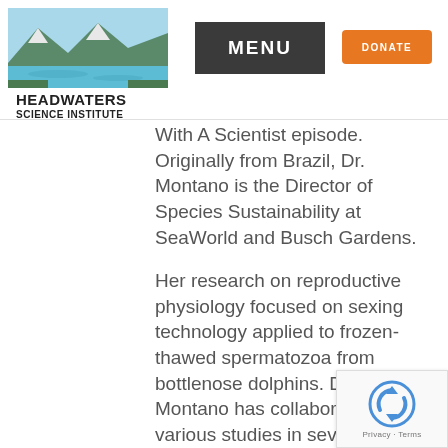HEADWATERS SCIENCE INSTITUTE | MENU | DONATE
With A Scientist episode. Originally from Brazil, Dr. Montano is the Director of Species Sustainability at SeaWorld and Busch Gardens.
Her research on reproductive physiology focused on sexing technology applied to frozen-thawed spermatozoa from bottlenose dolphins. Dr. Montano has collaborated on various studies in several different species such as dolphins, beluga, killer whales, penguins, elephants, rhinos and most currently sharks. She has participated in 12 Ocearch expeditions, examining white sharks in the East Coast of United States and Canada.
She dives into her research with